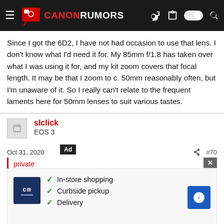Canon Rumors
Since I got the 6D2, I have not had occasion to use that lens. I don't know what I'd need it for. My 85mm f/1.8 has taken over what I was using it for, and my kit zoom covers that focal length. It may be that I zoom to c. 50mm reasonably often, but I'm unaware of it. So I really can't relate to the frequent laments here for 50mm lenses to suit various tastes.
slclick
EOS 3
Oct 31, 2020
[Figure (screenshot): Advertisement overlay showing a store with checklist: In-store shopping, Curbside pickup, Delivery. CM logo on left, navigation arrow icon on right. Ad label and X close button visible.]
private
No.
And no: I have zooms. I hav... most used lenses are
Advertisement